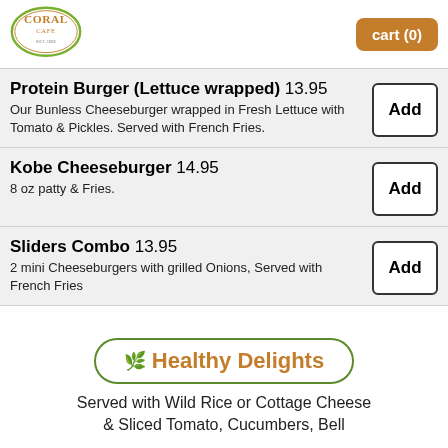[Figure (logo): Coral Cafe oval logo with brown/orange text on white background with green border]
cart (0)
Protein Burger (Lettuce wrapped) 13.95
Our Bunless Cheeseburger wrapped in Fresh Lettuce with Tomato & Pickles. Served with French Fries.
Add
Kobe Cheeseburger 14.95
8 oz patty & Fries.
Add
Sliders Combo  13.95
2 mini Cheeseburgers with grilled Onions, Served with French Fries
Add
🌿 Healthy Delights
Served with Wild Rice or Cottage Cheese & Sliced Tomato, Cucumbers, Bell